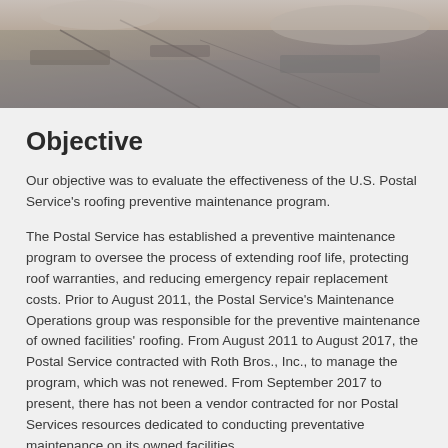[Figure (photo): Partial view of a rooftop or building surface, appears to be an outdoor/aerial photograph showing roofing materials]
Objective
Our objective was to evaluate the effectiveness of the U.S. Postal Service’s roofing preventive maintenance program.
The Postal Service has established a preventive maintenance program to oversee the process of extending roof life, protecting roof warranties, and reducing emergency repair replacement costs. Prior to August 2011, the Postal Service’s Maintenance Operations group was responsible for the preventive maintenance of owned facilities’ roofing. From August 2011 to August 2017, the Postal Service contracted with Roth Bros., Inc., to manage the program, which was not renewed. From September 2017 to present, there has not been a vendor contracted for nor Postal Services resources dedicated to conducting preventative maintenance on its owned facilities.